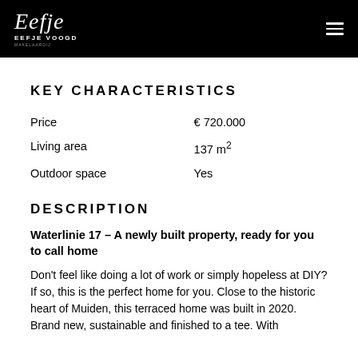EEFJE VOOGD MAKELAARDIJ
KEY CHARACTERISTICS
|  |  |
| --- | --- |
| Price | € 720.000 |
| Living area | 137 m² |
| Outdoor space | Yes |
DESCRIPTION
Waterlinie 17 – A newly built property, ready for you to call home
Don't feel like doing a lot of work or simply hopeless at DIY? If so, this is the perfect home for you. Close to the historic heart of Muiden, this terraced home was built in 2020. Brand new, sustainable and finished to a tee. With